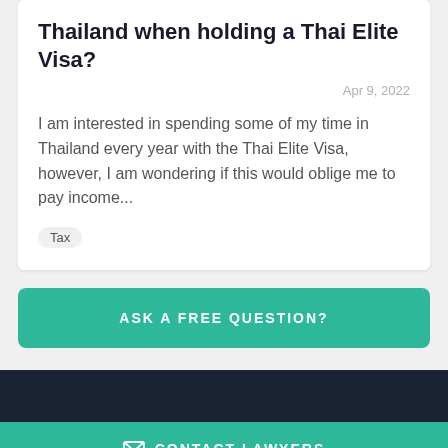Thailand when holding a Thai Elite Visa?
Apr 9, 2022
I am interested in spending some of my time in Thailand every year with the Thai Elite Visa, however, I am wondering if this would oblige me to pay income...
Tax
ASK A FREE QUESTION?
CONTACT LAWYERS